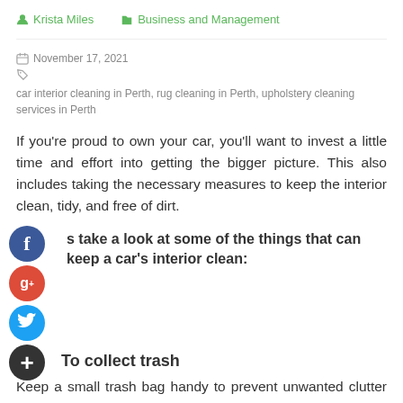Krista Miles   Business and Management
November 17, 2021   car interior cleaning in Perth, rug cleaning in Perth, upholstery cleaning services in Perth
If you're proud to own your car, you'll want to invest a little time and effort into getting the bigger picture. This also includes taking the necessary measures to keep the interior clean, tidy, and free of dirt.
s take a look at some of the things that can keep a car's interior clean:
To collect trash
Keep a small trash bag handy to prevent unwanted clutter from building up in your car. Most cars don't have a dedicated trash can, so a bag with appropriate space will ensure that trash can be kept in one place and easily removed when needed. You can also check for the best car interior washing in Perth through